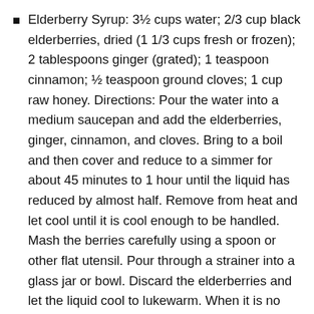Elderberry Syrup: 3½ cups water; 2/3 cup black elderberries, dried (1 1/3 cups fresh or frozen); 2 tablespoons ginger (grated); 1 teaspoon cinnamon; ½ teaspoon ground cloves; 1 cup raw honey. Directions: Pour the water into a medium saucepan and add the elderberries, ginger, cinnamon, and cloves. Bring to a boil and then cover and reduce to a simmer for about 45 minutes to 1 hour until the liquid has reduced by almost half. Remove from heat and let cool until it is cool enough to be handled. Mash the berries carefully using a spoon or other flat utensil. Pour through a strainer into a glass jar or bowl. Discard the elderberries and let the liquid cool to lukewarm. When it is no longer hot, add the honey and stir well. When the honey is well mixed into the elderberry mixture, pour the syrup into a mason jar or 16-ounce glass bottle of some kind. Store in the fridge and take daily. Some sources recommend taking only during the